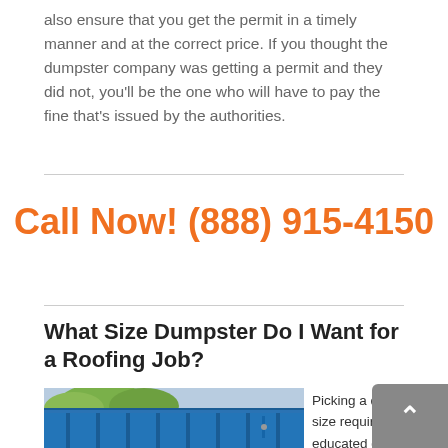also ensure that you get the permit in a timely manner and at the correct price. If you thought the dumpster company was getting a permit and they did not, you'll be the one who will have to pay the fine that's issued by the authorities.
Call Now! (888) 915-4150
What Size Dumpster Do I Want for a Roofing Job?
[Figure (photo): Blue dumpster containers outdoors with trees visible in background]
Picking a dumpster size requires some educated guesswork. It is often problematic for individuals to